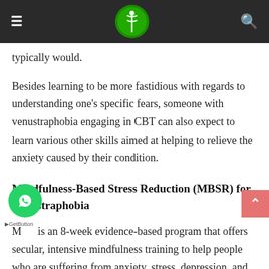≡  [logo]  🔍
typically would.
Besides learning to be more fastidious with regards to understanding one's specific fears, someone with venustraphobia engaging in CBT can also expect to learn various other skills aimed at helping to relieve the anxiety caused by their condition.
Mindfulness-Based Stress Reduction (MBSR) for Venustraphobia
MBSR is an 8-week evidence-based program that offers secular, intensive mindfulness training to help people who are suffering from anxiety, stress, depression, and